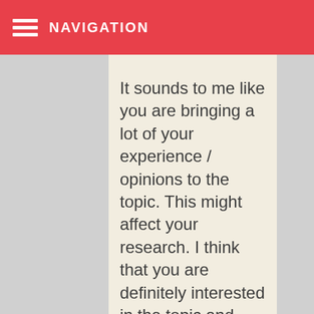NAVIGATION
It sounds to me like you are bringing a lot of your experience / opinions to the topic. This might affect your research. I think that you are definitely interested in the topic and that's a great place to start. Why don't you start by researching and learning about public housing. Search some article databases. Read a few articles. You'll